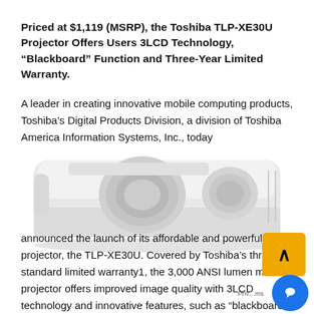Priced at $1,119 (MSRP), the Toshiba TLP-XE30U Projector Offers Users 3LCD Technology, “Blackboard” Function and Three-Year Limited Warranty.
A leader in creating innovative mobile computing products, Toshiba’s Digital Products Division, a division of Toshiba America Information Systems, Inc., today
[Figure (photo): Photo of a white Toshiba TLP-XE30U projector viewed from a slight angle, showing the lens and ventilation details on a white background.]
announced the launch of its affordable and powerful projector, the TLP-XE30U. Covered by Toshiba’s three standard limited warranty1, the 3,000 ANSI lumen mo projector offers improved image quality with 3LCD technology and innovative features, such as “blackboard